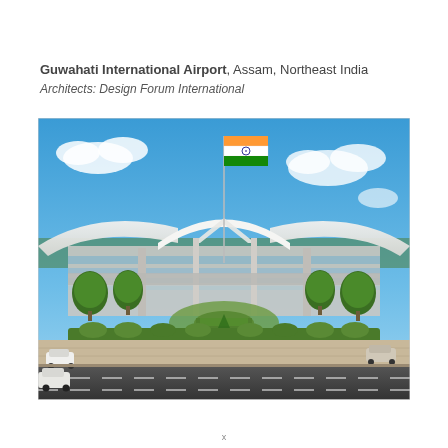Guwahati International Airport, Assam, Northeast India
Architects: Design Forum International
[Figure (photo): Architectural rendering of Guwahati International Airport terminal building with distinctive sweeping white canopy roof, Indian national flag on a tall flagpole in the center, landscaped roundabout with fountain and hedges in the foreground, access road with vehicles, blue sky with clouds in the background.]
x